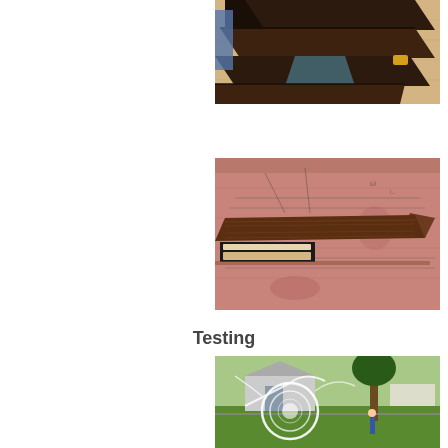[Figure (photo): Dark wooden planks/boards laid diagonally on a light wood floor, showing rich dark stained wood pieces stacked together in a workshop setting.]
[Figure (photo): A wooden firearm stock or gunstock being worked on, placed on a pink/salmon colored workbench with pencil layout lines marked on the surface. A slot or channel is cut into the wood piece revealing lighter wood inside.]
Testing
[Figure (photo): A outdoor scene showing a child standing in a yard with a glowing circular light effect (light painting or long-exposure photography) in front of a house and large tree.]